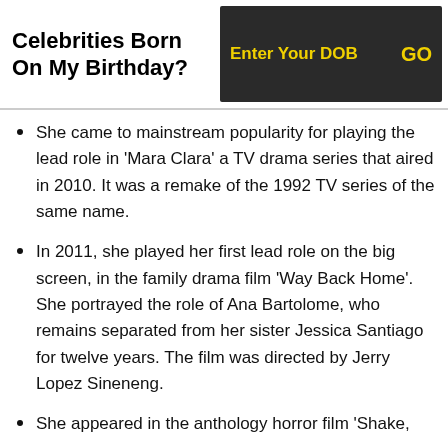Celebrities Born On My Birthday?
She came to mainstream popularity for playing the lead role in 'Mara Clara' a TV drama series that aired in 2010. It was a remake of the 1992 TV series of the same name.
In 2011, she played her first lead role on the big screen, in the family drama film 'Way Back Home'. She portrayed the role of Ana Bartolome, who remains separated from her sister Jessica Santiago for twelve years. The film was directed by Jerry Lopez Sineneng.
She appeared in the anthology horror film 'Shake,